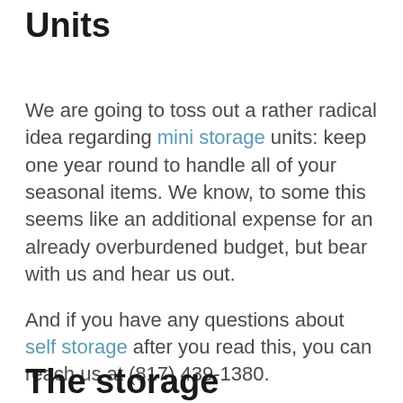Units
We are going to toss out a rather radical idea regarding mini storage units: keep one year round to handle all of your seasonal items. We know, to some this seems like an additional expense for an already overburdened budget, but bear with us and hear us out.
And if you have any questions about self storage after you read this, you can reach us at (817) 439-1380.
The storage